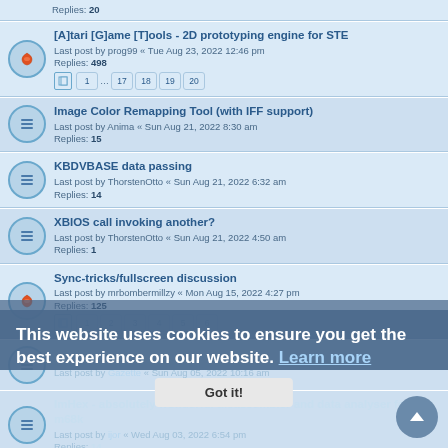Replies: 20
[A]tari [G]ame [T]ools - 2D prototyping engine for STE
Last post by prog99 « Tue Aug 23, 2022 12:46 pm
Replies: 498
Pages: 1 ... 17 18 19 20
Image Color Remapping Tool (with IFF support)
Last post by Anima « Sun Aug 21, 2022 8:30 am
Replies: 15
KBDVBASE data passing
Last post by ThorstenOtto « Sun Aug 21, 2022 6:32 am
Replies: 14
XBIOS call invoking another?
Last post by ThorstenOtto « Sun Aug 21, 2022 4:50 am
Replies: 1
Sync-tricks/fullscreen discussion
Last post by mrbombermillzy « Mon Aug 15, 2022 4:27 pm
Replies: 125
Pages: 1 2 3 4 5 6
Wiki - SCC - Hardware register list
Last post by [partial]
[partial topic] off/laser engineering
Last post by uko « Wed Aug 03, 2022 8:03 pm
Replies: 8
ImHex - absolutely wonderful disassembler and data analyser for m68k
Last post by ijor « Wed Aug 03, 2022 6:54 pm
Replies: 14
This website uses cookies to ensure you get the best experience on our website. Learn more
Got it!